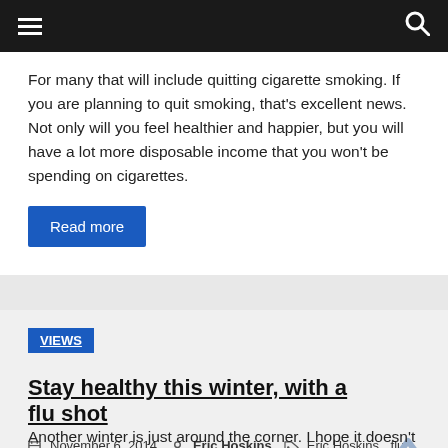≡  [navigation bar]  🔍
For many that will include quitting cigarette smoking. If you are planning to quit smoking, that's excellent news. Not only will you feel healthier and happier, but you will have a lot more disposable income that you won't be spending on cigarettes.
Read more
VIEWS
Stay healthy this winter, with a flu shot
November 6, 2014  Eric Hoskins  Eric Hoskins, flu vaccine
Another winter is just around the corner. I hope it doesn't